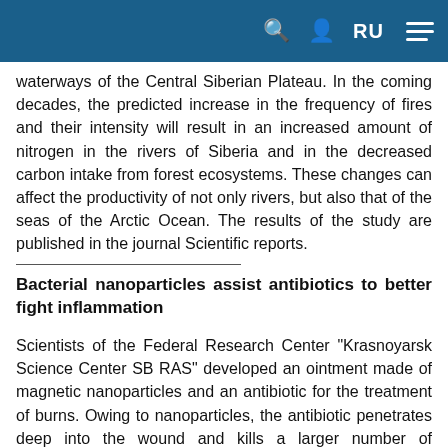RU
waterways of the Central Siberian Plateau. In the coming decades, the predicted increase in the frequency of fires and their intensity will result in an increased amount of nitrogen in the rivers of Siberia and in the decreased carbon intake from forest ecosystems. These changes can affect the productivity of not only rivers, but also that of the seas of the Arctic Ocean. The results of the study are published in the journal Scientific reports.
Bacterial nanoparticles assist antibiotics to better fight inflammation
Scientists of the Federal Research Center "Krasnoyarsk Science Center SB RAS" developed an ointment made of magnetic nanoparticles and an antibiotic for the treatment of burns. Owing to nanoparticles, the antibiotic penetrates deep into the wound and kills a larger number of pathogenic